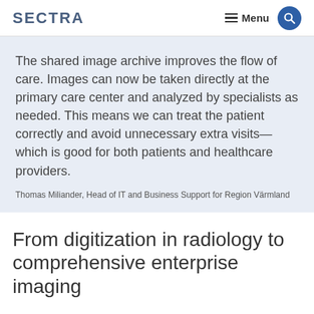SECTRA | Menu
The shared image archive improves the flow of care. Images can now be taken directly at the primary care center and analyzed by specialists as needed. This means we can treat the patient correctly and avoid unnecessary extra visits—which is good for both patients and healthcare providers.
Thomas Miliander, Head of IT and Business Support for Region Värmland
From digitization in radiology to comprehensive enterprise imaging